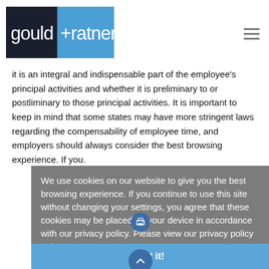gould + ratner
it is an integral and indispensable part of the employee's principal activities and whether it is preliminary to or postliminary to those principal activities. It is important to keep in mind that some states may have more stringent laws regarding the compensability of employee time, and employers should always consider the best browsing experience. If you.
We use cookies on our website to give you the best browsing experience. If you continue to use this site without changing your settings, you agree that these cookies may be placed on your device in accordance with our privacy policy. Please view our privacy policy to learn more. Learn more
Got it!
Related Practices
Human Resources and Employment